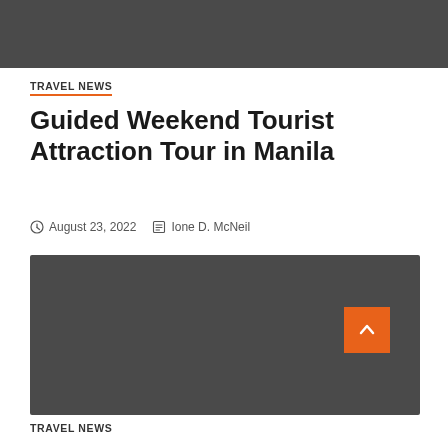[Figure (other): Dark gray header bar at top of page]
TRAVEL NEWS
Guided Weekend Tourist Attraction Tour in Manila
August 23, 2022  Ione D. McNeil
[Figure (photo): Dark gray image placeholder with '3 min read' badge overlay and orange scroll-to-top button in bottom right corner]
TRAVEL NEWS